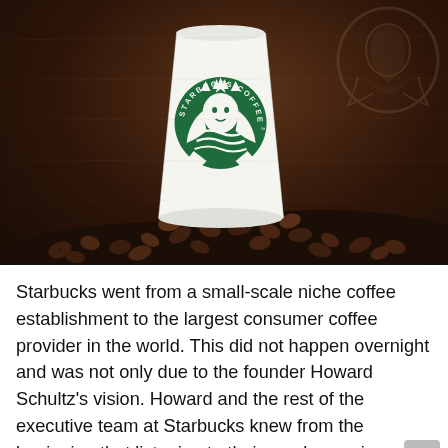[Figure (photo): A white Starbucks paper cup with the green Starbucks siren logo sits centered on a pile of roasted coffee beans against a dark brown wooden background. A faint large Starbucks siren logo watermark is visible in the upper right of the background.]
Starbucks went from a small-scale niche coffee establishment to the largest consumer coffee provider in the world. This did not happen overnight and was not only due to the founder Howard Schultz's vision. Howard and the rest of the executive team at Starbucks knew from the beginning that listening to their employees is